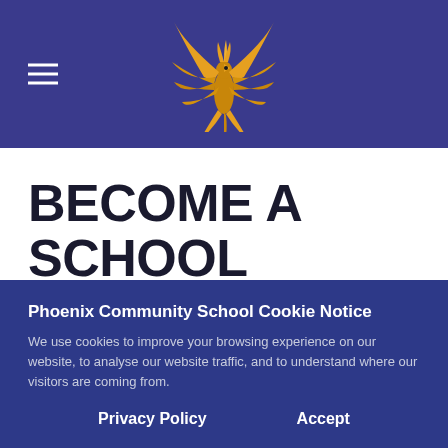Phoenix Community School — navigation header with hamburger menu and phoenix logo
BECOME A SCHOOL GOVERNOR
Who can become a School
Phoenix Community School Cookie Notice
We use cookies to improve your browsing experience on our website, to analyse our website traffic, and to understand where our visitors are coming from.
Privacy Policy   Accept